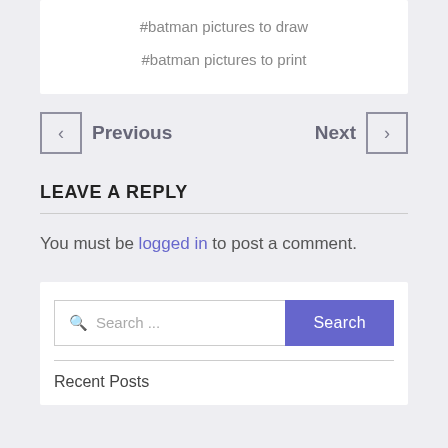#batman pictures to draw
#batman pictures to print
< Previous    Next >
LEAVE A REPLY
You must be logged in to post a comment.
Search ...
Recent Posts